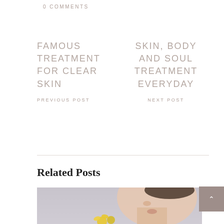0 COMMENTS
FAMOUS TREATMENT FOR CLEAR SKIN
PREVIOUS POST
SKIN, BODY AND SOUL TREATMENT EVERYDAY
NEXT POST
Related Posts
[Figure (photo): Close-up profile photo of a woman's face with flawless skin, holding a yellow flower]